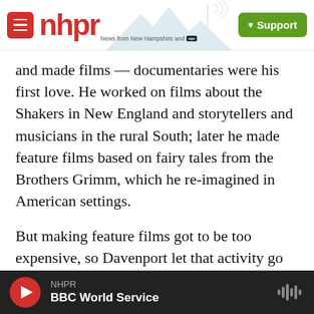NHPR — News from New Hampshire and NPR | Support
and made films — documentaries were his first love. He worked on films about the Shakers in New England and storytellers and musicians in the rural South; later he made feature films based on fairy tales from the Brothers Grimm, which he re-imagined in American settings.
But making feature films got to be too expensive, so Davenport let that activity go idle. And these days, he leaves most of the farming to his son. He devotes most of his time to developing his Web site — Folkstreams.net, which aims to be a national treasury of documentary films about folk art and
NHPR | BBC World Service